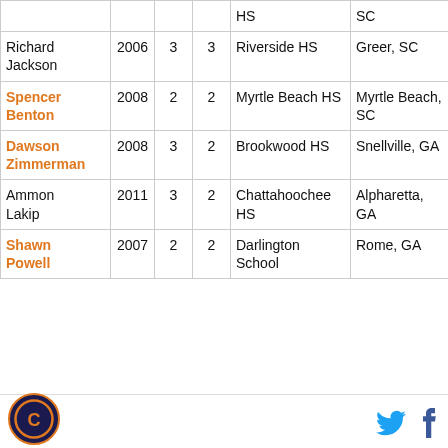| Name | Year | C1 | C2 | High School | Location |
| --- | --- | --- | --- | --- | --- |
|  |  |  |  | HS | SC |
| Richard Jackson | 2006 | 3 | 3 | Riverside HS | Greer, SC |
| Spencer Benton | 2008 | 2 | 2 | Myrtle Beach HS | Myrtle Beach, SC |
| Dawson Zimmerman | 2008 | 3 | 2 | Brookwood HS | Snellville, GA |
| Ammon Lakip | 2011 | 3 | 2 | Chattahoochee HS | Alpharetta, GA |
| Shawn Powell | 2007 | 2 | 2 | Darlington School | Rome, GA |
[Figure (logo): Clemson Tigers circular logo with orange border on navy background]